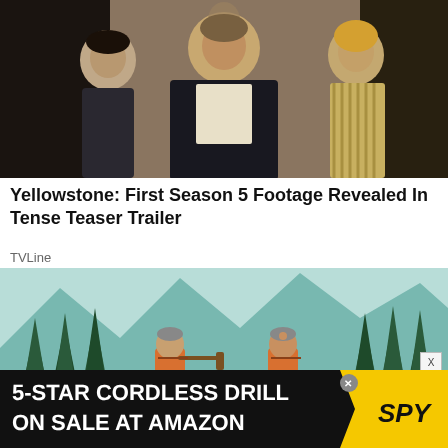[Figure (photo): Three people walking, a man in a dark suit in the center with two women flanking him, from Yellowstone TV show Season 5]
Yellowstone: First Season 5 Footage Revealed In Tense Teaser Trailer
TVLine
[Figure (illustration): Illustrated scene of two people in orange life vests canoeing in a mountain/forest river landscape]
[Figure (other): Advertisement: 5-STAR CORDLESS DRILL ON SALE AT AMAZON with SPY logo on yellow background]